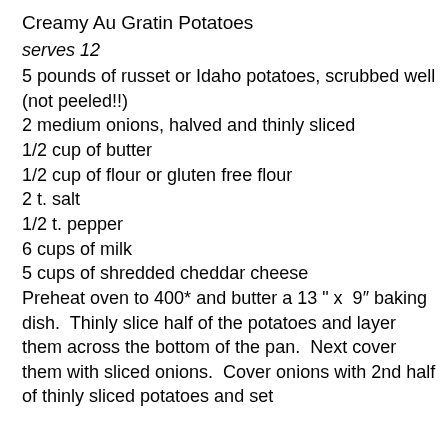Creamy Au Gratin Potatoes
serves 12
5 pounds of russet or Idaho potatoes, scrubbed well (not peeled!!)
2 medium onions, halved and thinly sliced
1/2 cup of butter
1/2 cup of flour or gluten free flour
2 t. salt
1/2 t. pepper
6 cups of milk
5 cups of shredded cheddar cheese
Preheat oven to 400* and butter a 13 " x  9″ baking dish.  Thinly slice half of the potatoes and layer them across the bottom of the pan.  Next cover them with sliced onions.  Cover onions with 2nd half of thinly sliced potatoes and set